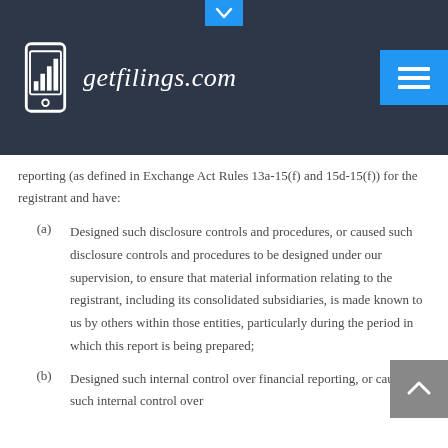getfilings.com
reporting (as defined in Exchange Act Rules 13a-15(f) and 15d-15(f)) for the registrant and have:
(a) Designed such disclosure controls and procedures, or caused such disclosure controls and procedures to be designed under our supervision, to ensure that material information relating to the registrant, including its consolidated subsidiaries, is made known to us by others within those entities, particularly during the period in which this report is being prepared;
(b) Designed such internal control over financial reporting, or caused such internal control over